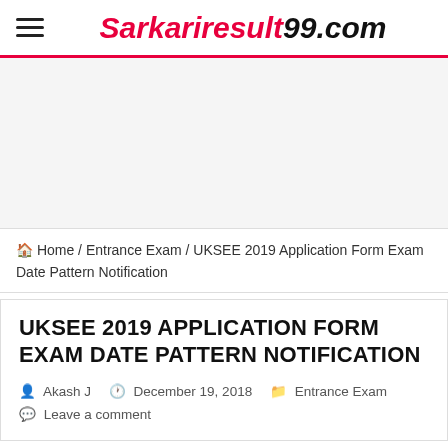Sarkariresult99.com
[Figure (other): Advertisement banner area (blank/placeholder)]
🏠 Home / Entrance Exam / UKSEE 2019 Application Form Exam Date Pattern Notification
UKSEE 2019 APPLICATION FORM EXAM DATE PATTERN NOTIFICATION
Akash J   December 19, 2018   Entrance Exam   Leave a comment